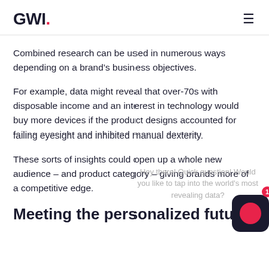GWI.
Combined research can be used in numerous ways depending on a brand’s business objectives.
For example, data might reveal that over-70s with disposable income and an interest in technology would buy more devices if the product designs accounted for failing eyesight and inhibited manual dexterity.
These sorts of insights could open up a whole new audience – and product category – giving brands more of a competitive edge.
Meeting the personalized futu